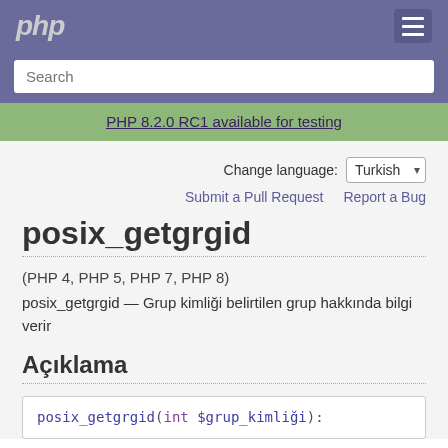php
Search
PHP 8.2.0 RC1 available for testing
Change language: Turkish
Submit a Pull Request   Report a Bug
posix_getgrgid
(PHP 4, PHP 5, PHP 7, PHP 8)
posix_getgrgid — Grup kimliği belirtilen grup hakkında bilgi verir
Açıklama
posix_getgrgid(int $grup_kimliği):